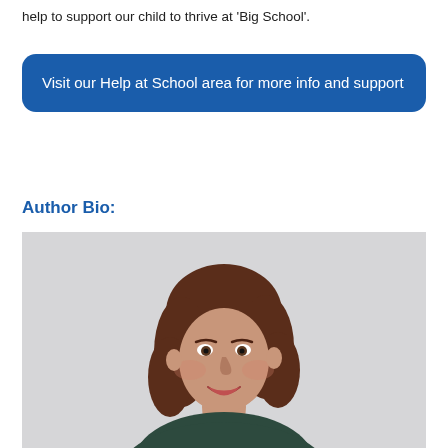help to support our child to thrive at 'Big School'.
Visit our Help at School area for more info and support
Author Bio:
[Figure (photo): Headshot photograph of a smiling young woman with shoulder-length brown hair, wearing a dark green top, against a light grey background.]